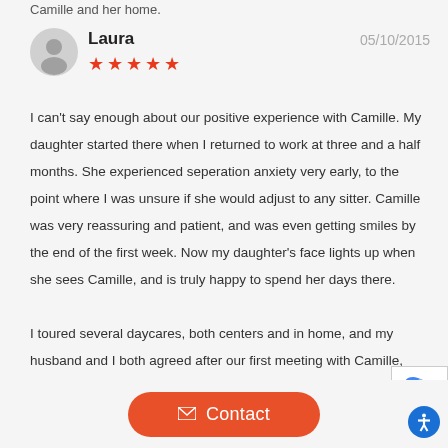Camille and her home.
Laura   05/10/2015   ★★★★★
I can't say enough about our positive experience with Camille. My daughter started there when I returned to work at three and a half months. She experienced seperation anxiety very early, to the point where I was unsure if she would adjust to any sitter. Camille was very reassuring and patient, and was even getting smiles by the end of the first week. Now my daughter's face lights up when she sees Camille, and is truly happy to spend her days there.

I toured several daycares, both centers and in home, and my husband and I both agreed after our first meeting with Camille, she was the right fit for our family. We love having our daughter in a warm home environment, but with the educational benefits of Camille's experie
Contact